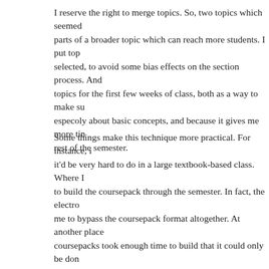I reserve the right to merge topics. So, two topics which seemed parts of a broader topic which can reach more students. I put top selected, to avoid some bias effects on the section process. And topics for the first few weeks of class, both as a way to make su especoly about basic concepts, and because it gives me more tim rest of the semester.
Some things make this technique more practical. For instance, i it'd be very hard to do in a large textbook-based class. Where I to build the coursepack through the semester. In fact, the electro me to bypass the coursepack format altogether. At another place coursepacks took enough time to build that it could only be don I had to start with prepared material before the semester started. Concordia, the coursepack system is such that it'd be very impra it's possible to meet students weeks before the course starts. I've noticed a number of advantages with this technique. One is those broad issues of course design which give them insight into does it mean that students are a bit less passive, but they get a be